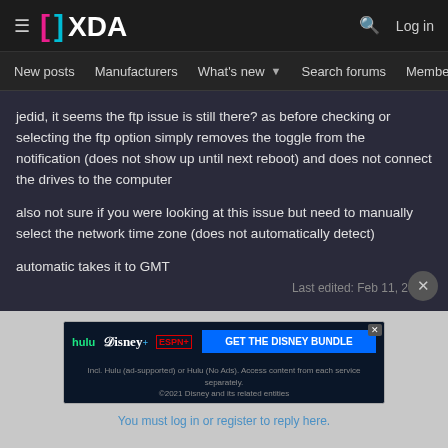XDA Forums — Log in
New posts  Manufacturers  What's new  Search forums  Members  >
jedid, it seems the ftp issue is still there? as before checking or selecting the ftp option simply removes the toggle from the notification (does not show up until next reboot) and does not connect the drives to the computer
also not sure if you were looking at this issue but need to manually select the network time zone (does not automatically detect)
automatic takes it to GMT
Last edited: Feb 11, 2017
[Figure (screenshot): Hulu Disney+ ESPN+ GET THE DISNEY BUNDLE advertisement banner]
You must log in or register to reply here.